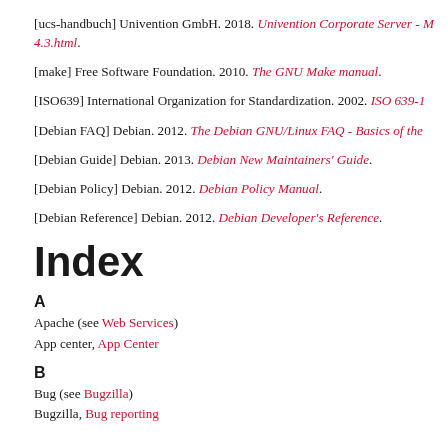[ucs-handbuch] Univention GmbH. 2018. Univention Corporate Server - M 4.3.html.
[make] Free Software Foundation. 2010. The GNU Make manual.
[ISO639] International Organization for Standardization. 2002. ISO 639-1
[Debian FAQ] Debian. 2012. The Debian GNU/Linux FAQ - Basics of the
[Debian Guide] Debian. 2013. Debian New Maintainers' Guide.
[Debian Policy] Debian. 2012. Debian Policy Manual.
[Debian Reference] Debian. 2012. Debian Developer's Reference.
Index
A
Apache (see Web Services)
App center, App Center
B
Bug (see Bugzilla)
Bugzilla, Bug reporting